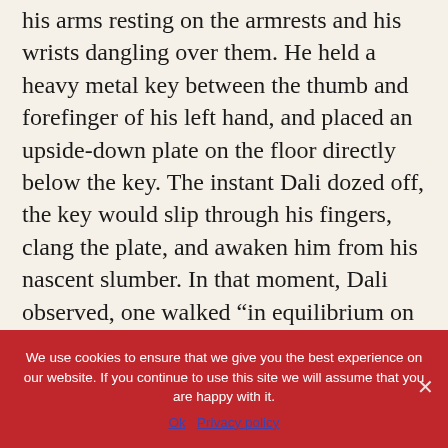his arms resting on the armrests and his wrists dangling over them. He held a heavy metal key between the thumb and forefinger of his left hand, and placed an upside-down plate on the floor directly below the key. The instant Dali dozed off, the key would slip through his fingers, clang the plate, and awaken him from his nascent slumber. In that moment, Dali observed, one walked “in equilibrium on the taut and invisible wire that separates sleep from waking.” The artist recommended this practice to anyone who worked with their mind, believing that the tiny nap “revivified” one’s whole “physical and physic being” and left you invigorated and inspired for an afternoon of creative labor.
We use cookies to ensure that we give you the best experience on our website. If you continue to use this site we will assume that you are happy with it.
Ok   Privacy policy